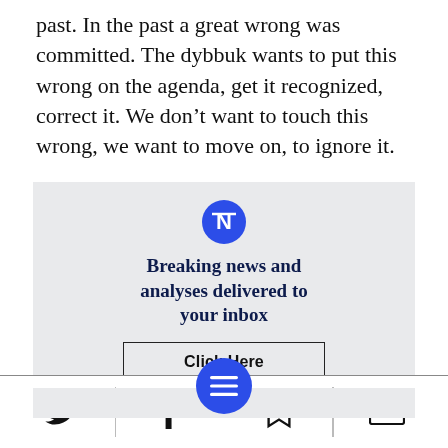past. In the past a great wrong was committed. The dybbuk wants to put this wrong on the agenda, get it recognized, correct it. We don't want to touch this wrong, we want to move on, to ignore it.
[Figure (infographic): Newsletter subscription call-to-action box with blue N icon, headline 'Breaking news and analyses delivered to your inbox', and a 'Click Here' button]
[Figure (infographic): Bottom navigation bar with Twitter, Facebook, menu (blue circle with three lines), bookmark, and email icons]